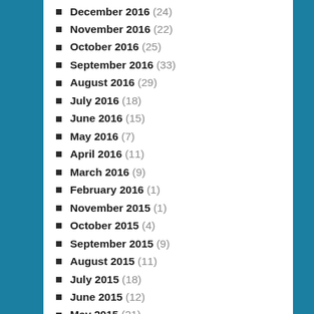December 2016 (24)
November 2016 (22)
October 2016 (25)
September 2016 (33)
August 2016 (29)
July 2016 (18)
June 2016 (15)
May 2016 (7)
April 2016 (11)
March 2016 (9)
February 2016 (1)
November 2015 (1)
October 2015 (4)
September 2015 (9)
August 2015 (11)
July 2015 (18)
June 2015 (12)
May 2015 (21)
April 2015 (12)
March 2015 (10)
February 2015 (2)